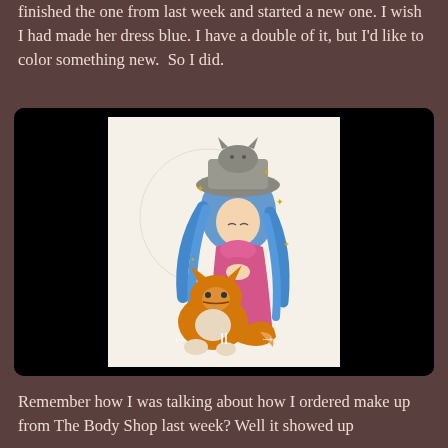finished the one from last week and started a new one. I wish I had made her dress blue. I have a double of it, but I'd like to color something new.  So I did.
[Figure (photo): A photograph of a colored page from a coloring book showing an anime-style girl with blue hair wearing a pink dress and a gray hat with a cat on top, accompanied by an orange fox/cat at her feet. The image is displayed in a black frame with navigation arrows and a pause button overlaid.]
Remember how I was talking about how I ordered make up from The Body Shop last week? Well it showed up